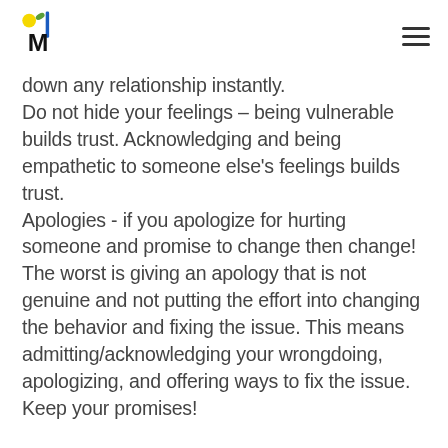[Logo: M with sun and leaf] [Hamburger menu icon]
down any relationship instantly.
Do not hide your feelings – being vulnerable builds trust. Acknowledging and being empathetic to someone else's feelings builds trust.
Apologies - if you apologize for hurting someone and promise to change then change! The worst is giving an apology that is not genuine and not putting the effort into changing the behavior and fixing the issue. This means admitting/acknowledging your wrongdoing, apologizing, and offering ways to fix the issue. Keep your promises!